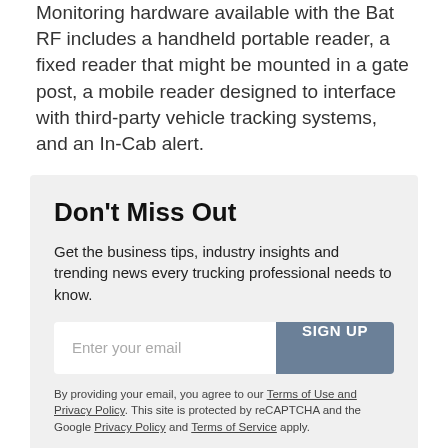Monitoring hardware available with the Bat RF includes a handheld portable reader, a fixed reader that might be mounted in a gate post, a mobile reader designed to interface with third-party vehicle tracking systems, and an In-Cab alert.
Don't Miss Out
Get the business tips, industry insights and trending news every trucking professional needs to know.
Enter your email [SIGN UP button]
By providing your email, you agree to our Terms of Use and Privacy Policy. This site is protected by reCAPTCHA and the Google Privacy Policy and Terms of Service apply.
[Figure (infographic): Row of five social sharing buttons: print (black), Facebook (blue), LinkedIn (teal), Twitter (light blue), Pinterest (dark red)]